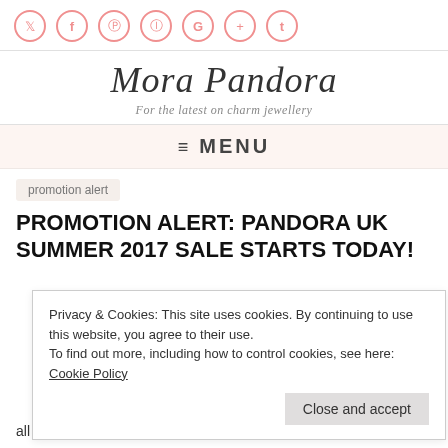[Figure (illustration): Row of social media icons (Twitter, Facebook, Pinterest, Instagram, Google+, Tumblr) as pink outlined circles]
Mora Pandora
For the latest on charm jewellery
≡ MENU
promotion alert
PROMOTION ALERT: PANDORA UK SUMMER 2017 SALE STARTS TODAY!
Privacy & Cookies: This site uses cookies. By continuing to use this website, you agree to their use.
To find out more, including how to control cookies, see here: Cookie Policy
Close and accept
all the various online retailers, as the stock does vary slightly